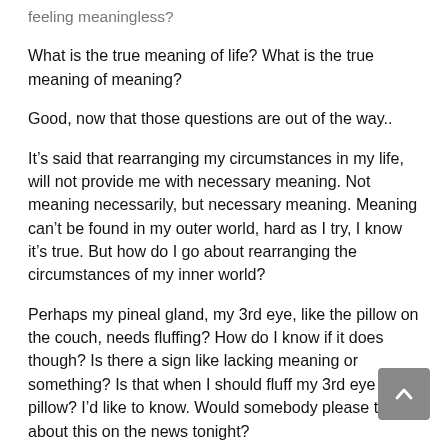feeling meaningless?
What is the true meaning of life? What is the true meaning of meaning?
Good, now that those questions are out of the way..
It’s said that rearranging my circumstances in my life, will not provide me with necessary meaning. Not meaning necessarily, but necessary meaning. Meaning can’t be found in my outer world, hard as I try, I know it’s true. But how do I go about rearranging the circumstances of my inner world?
Perhaps my pineal gland, my 3rd eye, like the pillow on the couch, needs fluffing? How do I know if it does though? Is there a sign like lacking meaning or something? Is that when I should fluff my 3rd eye pillow? I’d like to know. Would somebody please talk about this on the news tonight?
I’ve read Yogis fluffed their 3rd eye pillow, since the beginning of time. They say you can hit from the well, b